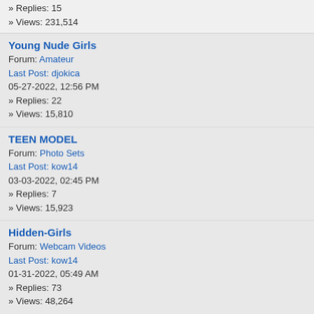» Replies: 15
» Views: 231,514
Young Nude Girls
Forum: Amateur
Last Post: djokica
05-27-2022, 12:56 PM
» Replies: 22
» Views: 15,810
TEEN MODEL
Forum: Photo Sets
Last Post: kow14
03-03-2022, 02:45 PM
» Replies: 7
» Views: 15,923
Hidden-Girls
Forum: Webcam Videos
Last Post: kow14
01-31-2022, 05:49 AM
» Replies: 73
» Views: 48,264
Scarlett Johansson
Forum: Celebrity Photos
Last Post: djokica
01-19-2022, 06:45 PM
» Replies: 2
» Views: 5,055
🙂 ♥ • Where is Administration j
♥ • Where is A
<span style="f
<br />
<br />
<br />
<br />
Can I contact a
<author><nam
<p></p>
<link href="htt
t=90355&amp
class="mycod
<link href="htt
<p>Statistics:
mode=viewpro
<br />